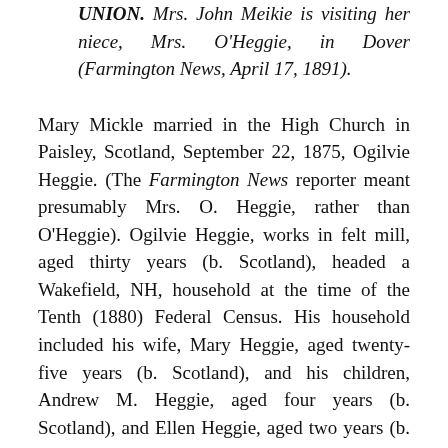UNION. Mrs. John Meikie is visiting her niece, Mrs. O'Heggie, in Dover (Farmington News, April 17, 1891).
Mary Mickle married in the High Church in Paisley, Scotland, September 22, 1875, Ogilvie Heggie. (The Farmington News reporter meant presumably Mrs. O. Heggie, rather than O'Heggie). Ogilvie Heggie, works in felt mill, aged thirty years (b. Scotland), headed a Wakefield, NH, household at the time of the Tenth (1880) Federal Census. His household included his wife, Mary Heggie, aged twenty-five years (b. Scotland), and his children, Andrew M. Heggie, aged four years (b. Scotland), and Ellen Heggie, aged two years (b. Scotland).